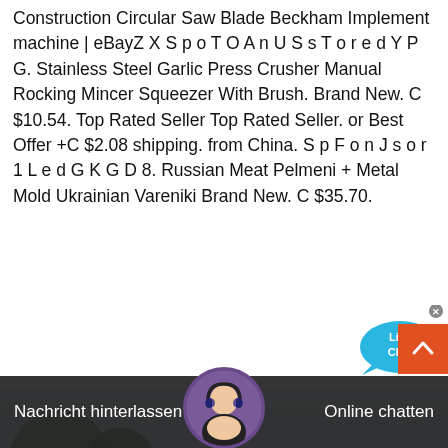Construction Circular Saw Blade Beckham Implement machine | eBayZ X S p o T O A n U S s T o r e d Y P G. Stainless Steel Garlic Press Crusher Manual Rocking Mincer Squeezer With Brush. Brand New. C $10.54. Top Rated Seller Top Rated Seller. or Best Offer +C $2.08 shipping. from China. S p F o n J s o r 1 L e d G K G D 8. Russian Meat Pelmeni + Metal Mold Ukrainian Vareniki Brand New. C $35.70.
[Figure (illustration): Live Chat bubble widget with teal/blue speech bubble icon and 'Live Chat' text in white, with an X close button]
Preis bekommen
[Figure (photo): Outdoor landscape photo with trees, sky and foliage visible, partially covered by dark chat overlay bar at bottom showing a female customer service agent avatar, 'Nachricht hinterlassen' on left and 'Online chatten' on right]